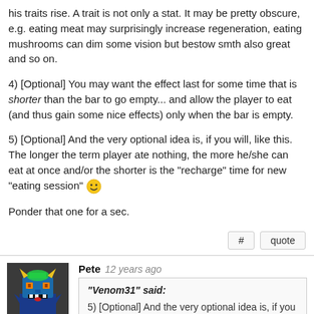his traits rise. A trait is not only a stat. It may be pretty obscure, e.g. eating meat may surprisingly increase regeneration, eating mushrooms can dim some vision but bestow smth also great and so on.
4) [Optional] You may want the effect last for some time that is shorter than the bar to go empty... and allow the player to eat (and thus gain some nice effects) only when the bar is empty.
5) [Optional] And the very optional idea is, if you will, like this. The longer the term player ate nothing, the more he/she can eat at once and/or the shorter is the "recharge" time for new "eating session" 😀
Ponder that one for a sec.
Pete  12 years ago
"Venom31" said:
5) [Optional] And the very optional idea is, if you